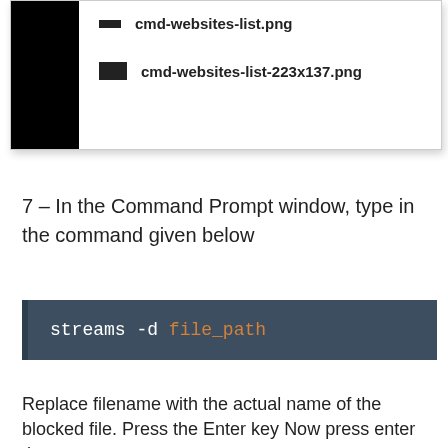[Figure (screenshot): File browser showing two files: cmd-websites-list.png and cmd-websites-list-223x137.png with a black sidebar on the left]
7 – In the Command Prompt window, type in the command given below
streams -d file_path
Replace filename with the actual name of the blocked file. Press the Enter key Now press enter the